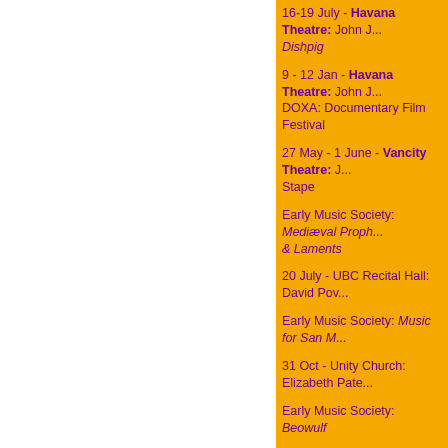16-19 July - Havana Theatre: John J... Dishpig
9 - 12 Jan - Havana Theatre: John J... DOXA: Documentary Film Festival
27 May - 1 June - Vancity Theatre: J... Stape
Early Music Society: Mediæval Proph... & Laments
20 July - UBC Recital Hall: David Pov...
Early Music Society: Music for San M...
31 Oct - Unity Church: Elizabeth Pate...
Early Music Society: Beowulf
1 Nov - UBC Recital Hall: Elizabeth Paterson
Early Music Society: Judith
2 Nov - UBC Recital Hall: Elizabeth Paterson
EXIT22: The Skriker
14 - 19 Oct - Capilano College Thea...